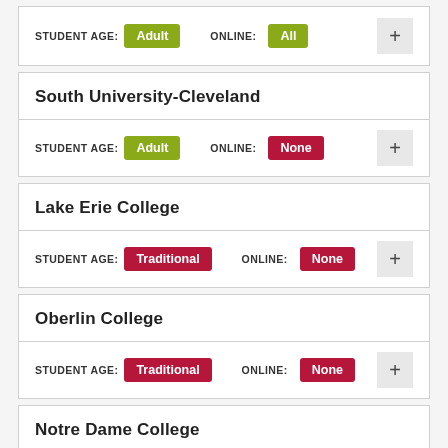STUDENT AGE: Adult  ONLINE: All
South University-Cleveland
STUDENT AGE: Adult  ONLINE: None
Lake Erie College
STUDENT AGE: Traditional  ONLINE: None
Oberlin College
STUDENT AGE: Traditional  ONLINE: None
Notre Dame College